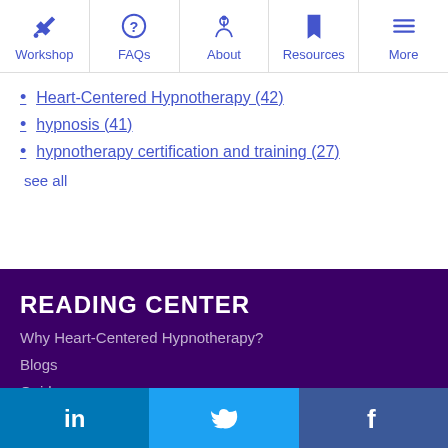Workshop | FAQs | About | Resources | More
Heart-Centered Hypnotherapy (42)
hypnosis (41)
hypnotherapy certification and training (27)
see all
READING CENTER
Why Heart-Centered Hypnotherapy?
Blogs
Guides
TRAINING AND CERTIFICATION
Advanced Internship
LinkedIn | Twitter | Facebook